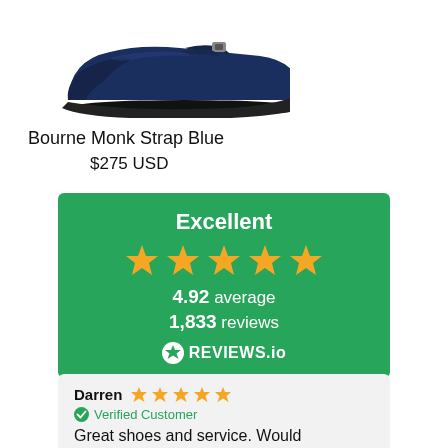[Figure (photo): Navy blue monk strap leather shoe (Bourne Monk Strap Blue) on white background]
Bourne Monk Strap Blue
$275 USD
[Figure (infographic): Green Trustpilot-style reviews badge showing 'Excellent', 5 gold stars, 4.92 average, 1,833 reviews, REVIEWS.io logo]
Darren ★★★★★ Verified Customer Great shoes and service. Would